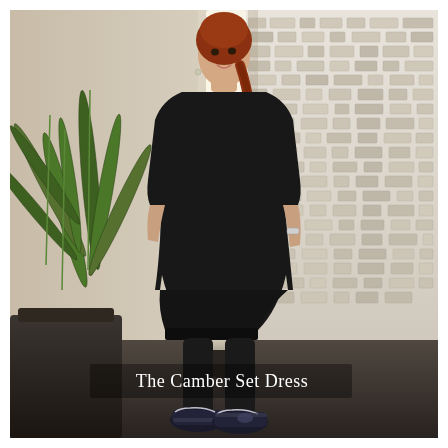[Figure (photo): A woman with red hair in a braid wearing a black knee-length dress with 3/4 sleeves and black tights with sneakers, standing in a modern interior with textured wall panels on the right, a glowing light column in the background center-left, and a large plant on the left. The floor is dark. Text overlay reads 'The Camber Set Dress'.]
The Camber Set Dress